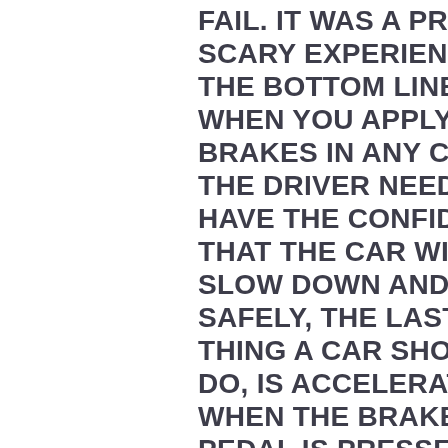FAIL. IT WAS A PRI SCARY EXPERIEN THE BOTTOM LINE WHEN YOU APPLY BRAKES IN ANY CA THE DRIVER NEED HAVE THE CONFID THAT THE CAR WI SLOW DOWN AND SAFELY, THE LAST THING A CAR SHO DO, IS ACCELERAT WHEN THE BRAKE PEDAL IS PRESSE TOTALLY DESTRO THE SAFE BRAKIN SECOND RULE. TH MANUFACTURE H